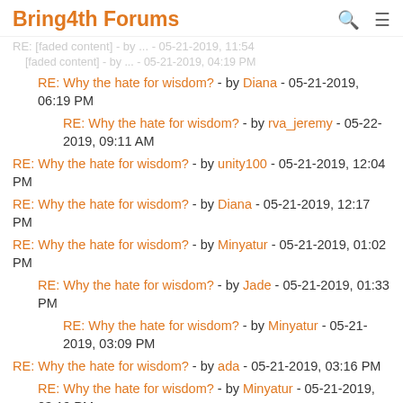Bring4th Forums
RE: Why the hate for wisdom? - by Diana - 05-21-2019, 06:19 PM
RE: Why the hate for wisdom? - by rva_jeremy - 05-22-2019, 09:11 AM
RE: Why the hate for wisdom? - by unity100 - 05-21-2019, 12:04 PM
RE: Why the hate for wisdom? - by Diana - 05-21-2019, 12:17 PM
RE: Why the hate for wisdom? - by Minyatur - 05-21-2019, 01:02 PM
RE: Why the hate for wisdom? - by Jade - 05-21-2019, 01:33 PM
RE: Why the hate for wisdom? - by Minyatur - 05-21-2019, 03:09 PM
RE: Why the hate for wisdom? - by ada - 05-21-2019, 03:16 PM
RE: Why the hate for wisdom? - by Minyatur - 05-21-2019, 03:19 PM
RE: Why the hate for wisdom? - by ada - 05-21-2019, 03:20 PM
RE: Why the hate for wisdom? - by Glow - 05-21-2019, 07:04 PM
RE: Why the hate for wisdom? - by Relax - 05-22-2019, 02:55 AM